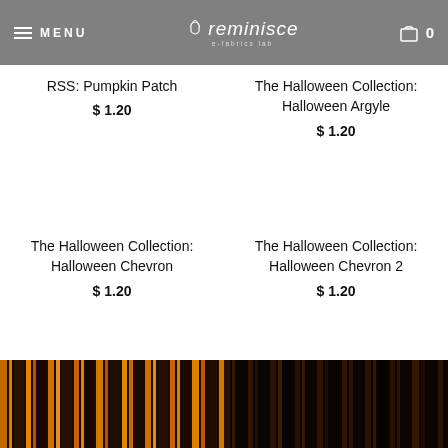MENU | reminisce | 0
RSS: Pumpkin Patch
$ 1.20
The Halloween Collection: Halloween Argyle
$ 1.20
The Halloween Collection: Halloween Chevron
$ 1.20
The Halloween Collection: Halloween Chevron 2
$ 1.20
[Figure (illustration): Halloween stripe/chevron fabric pattern in orange, brown, and black vertical stripes]
[Figure (illustration): Halloween stripe/chevron fabric pattern in dark brown and black vertical stripes]